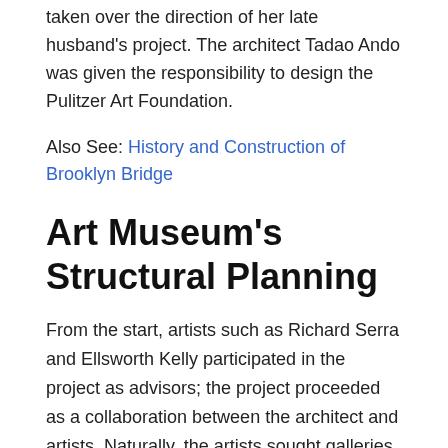taken over the direction of her late husband's project. The architect Tadao Ando was given the responsibility to design the Pulitzer Art Foundation.
Also See: History and Construction of Brooklyn Bridge
Art Museum's Structural Planning
From the start, artists such as Richard Serra and Ellsworth Kelly participated in the project as advisors; the project proceeded as a collaboration between the architect and artists. Naturally, the artists sought galleries that would show their works to the greatest advantage. Ando tried to create introspective spaces suitable for a dialogue with art. Collaboration with individuals of uncompromising artistic temperaments was extremely tense work. Conflicts arose between the strong personalities involved. Mrs Pulitzer, too, was an expert, with considerable experience as a museum